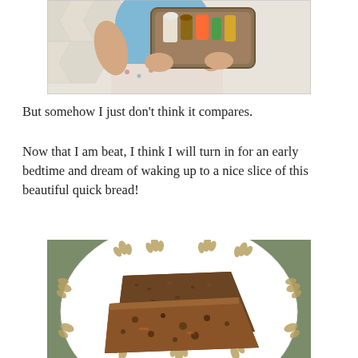[Figure (photo): Child holding a tray of colorful toy food items, viewed from behind, wearing a light blue shirt and floral skirt]
But somehow I just don't think it compares.
Now that I am beat, I think I will turn in for an early bedtime and dream of waking up to a nice slice of this beautiful quick bread!
[Figure (photo): Two slices of dark brown quick bread on a white plate decorated with gold leaf patterns, on a green background]